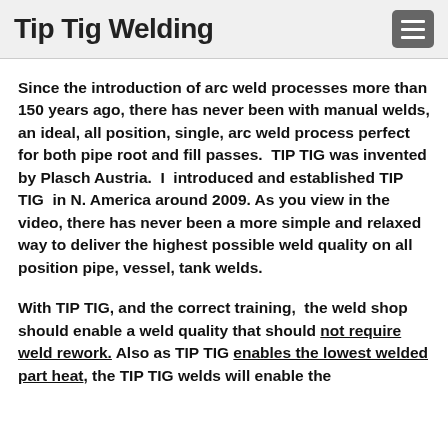Tip Tig Welding
Since the introduction of arc weld processes more than 150 years ago, there has never been with manual welds, an ideal, all position, single, arc weld process perfect for both pipe root and fill passes. TIP TIG was invented by Plasch Austria.  I  introduced and established TIP TIG  in N. America around 2009. As you view in the video, there has never been a more simple and relaxed way to deliver the highest possible weld quality on all position pipe, vessel, tank welds.
With TIP TIG, and the correct training,  the weld shop should enable a weld quality that should not require weld rework. Also as TIP TIG enables the lowest welded part heat, the TIP TIG welds will enable the